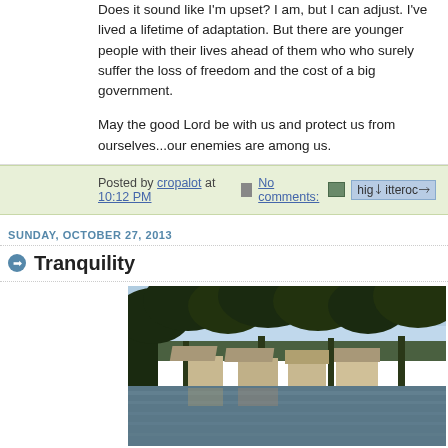Does it sound like I'm upset? I am, but I can adjust. I've lived a lifetime of adaptation. But there are younger people with their lives ahead of them who who surely suffer the loss of freedom and the cost of a big government.
May the good Lord be with us and protect us from ourselves...our enemies are among us.
Posted by cropalot at 10:12 PM  No comments:
SUNDAY, OCTOBER 27, 2013
Tranquility
[Figure (photo): Outdoor lakeside photo showing houses near water with large trees in the foreground and a light sky in the background.]